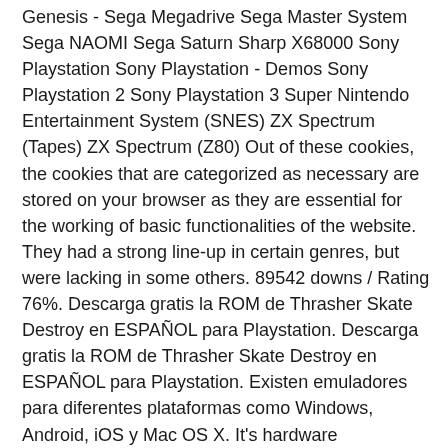Genesis - Sega Megadrive Sega Master System Sega NAOMI Sega Saturn Sharp X68000 Sony Playstation Sony Playstation - Demos Sony Playstation 2 Sony Playstation 3 Super Nintendo Entertainment System (SNES) ZX Spectrum (Tapes) ZX Spectrum (Z80) Out of these cookies, the cookies that are categorized as necessary are stored on your browser as they are essential for the working of basic functionalities of the website. They had a strong line-up in certain genres, but were lacking in some others. 89542 downs / Rating 76%. Descarga gratis la ROM de Thrasher Skate Destroy en ESPAÑOL para Playstation. Descarga gratis la ROM de Thrasher Skate Destroy en ESPAÑOL para Playstation. Existen emuladores para diferentes plataformas como Windows, Android, iOS y Mac OS X. It's hardware accelerator and dual processor could run ports that were very similar to that of the original PlayStation 2 versions (Persona 3, Grand Theft Auto), while the graphical capabilities of the DS, its rival were similar to those of the